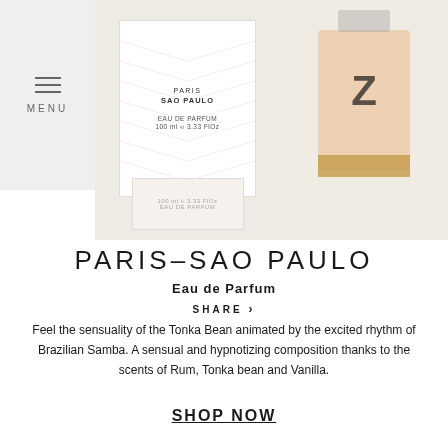MENU
[Figure (photo): Product photo of Chanel Paris-Sao Paulo Eau de Parfum white box packaging and perfume bottle with gold/bronze tones on light background]
PARIS-SAO PAULO
Eau de Parfum
SHARE ›
Feel the sensuality of the Tonka Bean animated by the excited rhythm of Brazilian Samba. A sensual and hypnotizing composition thanks to the scents of Rum, Tonka bean and Vanilla.
SHOP NOW